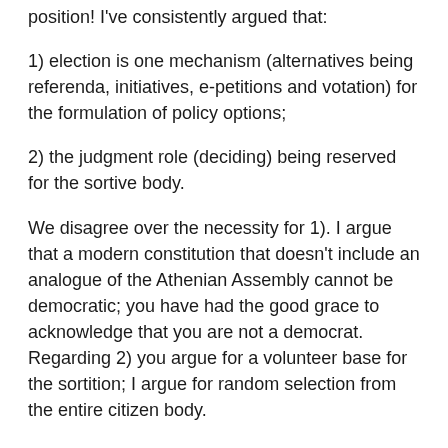position! I've consistently argued that:
1) election is one mechanism (alternatives being referenda, initiatives, e-petitions and votation) for the formulation of policy options;
2) the judgment role (deciding) being reserved for the sortive body.
We disagree over the necessity for 1). I argue that a modern constitution that doesn't include an analogue of the Athenian Assembly cannot be democratic; you have had the good grace to acknowledge that you are not a democrat. Regarding 2) you argue for a volunteer base for the sortition; I argue for random selection from the entire citizen body.